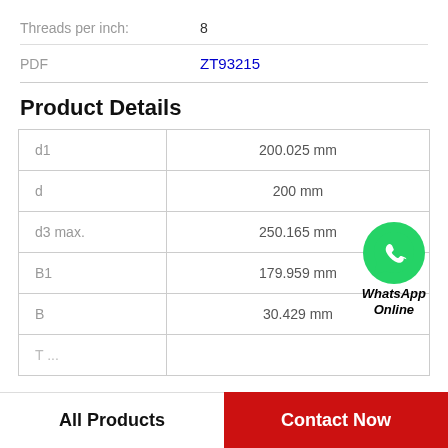Threads per inch: 8
PDF ZT93215
Product Details
| d1 | 200.025 mm |
| d | 200 mm |
| d3 max. | 250.165 mm |
| B1 | 179.959 mm |
| B | 30.429 mm |
| T ... |  |
[Figure (logo): WhatsApp Online green phone icon with text WhatsApp Online]
All Products
Contact Now